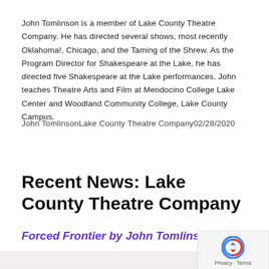John Tomlinson is a member of Lake County Theatre Company. He has directed several shows, most recently Oklahoma!, Chicago, and the Taming of the Shrew. As the Program Director for Shakespeare at the Lake, he has directed five Shakespeare at the Lake performances. John teaches Theatre Arts and Film at Mendocino College Lake Center and Woodland Community College, Lake County Campus.
John TomlinsonLake County Theatre Company02/28/2020
Recent News: Lake County Theatre Company
Forced Frontier by John Tomlinson